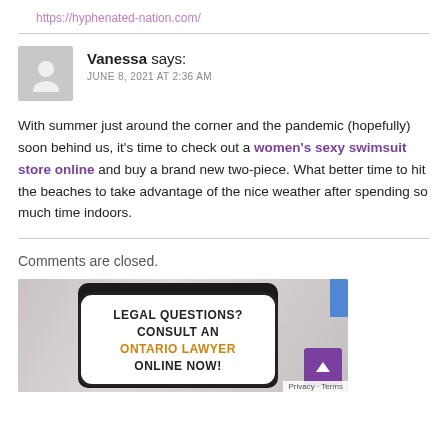https://hyphenated-nation.com/
Vanessa says: JUNE 8, 2021 AT 2:36 AM
With summer just around the corner and the pandemic (hopefully) soon behind us, it's time to check out a women's sexy swimsuit store online and buy a brand new two-piece. What better time to hit the beaches to take advantage of the nice weather after spending so much time indoors.
Comments are closed.
[Figure (photo): Advertisement image showing a tablet with text: LEGAL QUESTIONS? CONSULT AN ONTARIO LAWYER ONLINE NOW!]